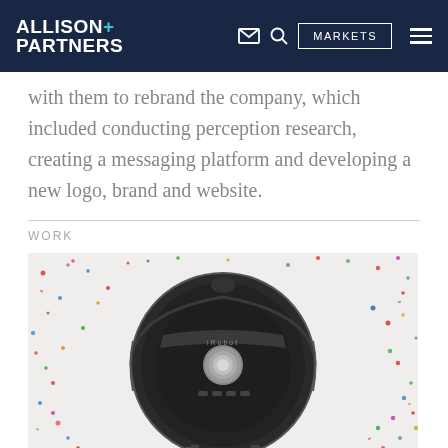ALLISON+ PARTNERS — MARKETS
with them to rebrand the company, which included conducting perception research, creating a messaging platform and developing a new logo, brand and website.
WORK
[Figure (photo): A Roomba robotic vacuum cleaner (round, black) photographed from above on a white surface covered with colorful confetti/sprinkles.]